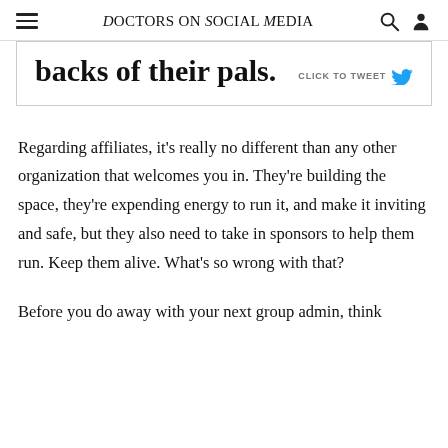DOCTORS ON SOCIAL MEDIA
backs of their pals. CLICK TO TWEET
Regarding affiliates, it’s really no different than any other organization that welcomes you in. They’re building the space, they’re expending energy to run it, and make it inviting and safe, but they also need to take in sponsors to help them run. Keep them alive. What’s so wrong with that?
Before you do away with your next group admin, think